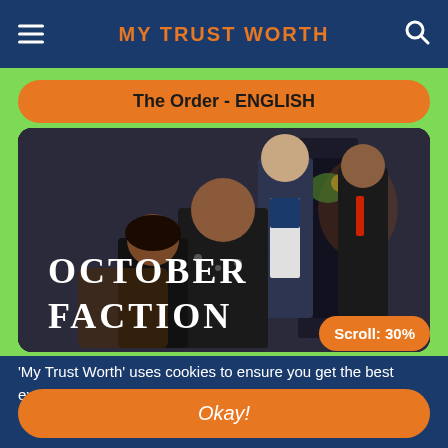MY TRUST WORTH
The Order - ENGLISH
[Figure (screenshot): October Faction TV show promotional image showing four characters in dark dramatic poses, with title text 'OCTOBER FACTION' in white serif font on the lower left]
Scroll: 30%
'My Trust Worth' uses cookies to ensure you get the best experience on our website.
Okay!